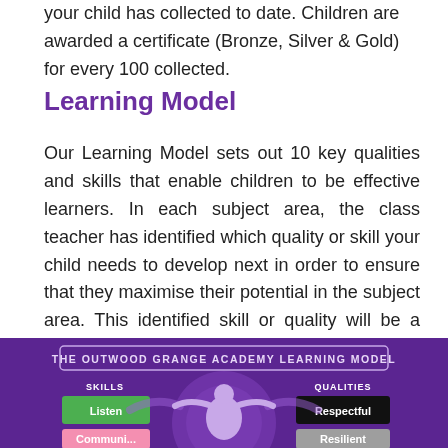your child has collected to date. Children are awarded a certificate (Bronze, Silver & Gold) for every 100 collected.
Learning Model
Our Learning Model sets out 10 key qualities and skills that enable children to be effective learners. In each subject area, the class teacher has identified which quality or skill your child needs to develop next in order to ensure that they maximise their potential in the subject area. This identified skill or quality will be a focus during the next Praising Stars Period.
[Figure (infographic): The Outwood Grange Academy Learning Model infographic showing a figure with arms raised, with SKILLS on the left (Listen, Communicate) and QUALITIES on the right (Respectful, Resilient) on a purple background.]